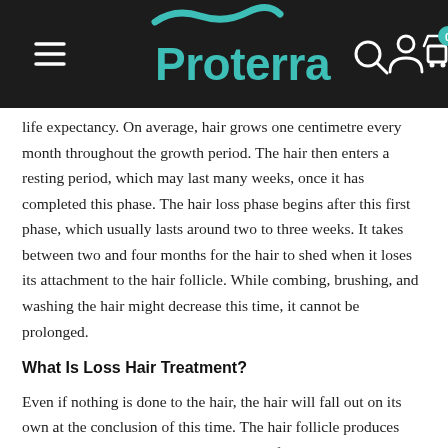[Figure (logo): Proterra brand logo with teal wave above text and navigation header on dark background with hamburger menu, search icon, account icon, and cart icon with badge showing 0]
life expectancy. On average, hair grows one centimetre every month throughout the growth period. The hair then enters a resting period, which may last many weeks, once it has completed this phase. The hair loss phase begins after this first phase, which usually lasts around two to three weeks. It takes between two and four months for the hair to shed when it loses its attachment to the hair follicle. While combing, brushing, and washing the hair might decrease this time, it cannot be prolonged.
What Is Loss Hair Treatment?
Even if nothing is done to the hair, the hair will fall out on its own at the conclusion of this time. The hair follicle produces new hair to replace the strands that have fallen out. This pattern will repeat indefinitely. 90% of the hair is growing at any one time, while just 1-2 percent is resting and 10% of the hair is in